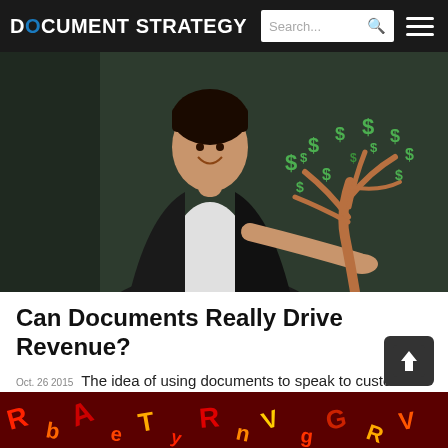DOCUMENT STRATEGY
[Figure (photo): Woman in black blazer smiling, standing in front of a chalkboard with a drawn money tree (dollar signs on branches)]
Can Documents Really Drive Revenue?
Oct. 26 2015  The idea of using documents to speak to customers directly is nothing new. Since the late 90s, momentum has been building to use personalization and relevant messaging to connect more closely with customers....
[Figure (photo): Bottom strip showing colorful letters/text scattered on a dark red background]